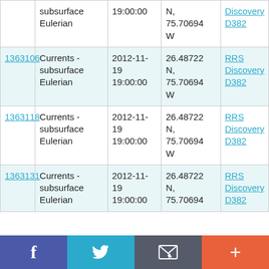| ID | Type | Date/Time | Location | Platform |
| --- | --- | --- | --- | --- |
|  | Currents - subsurface Eulerian | 19:00:00 | N, 75.70694 W | Discovery D382 |
| 1363106 | Currents - subsurface Eulerian | 2012-11-19 19:00:00 | 26.48722 N, 75.70694 W | RRS Discovery D382 |
| 1363118 | Currents - subsurface Eulerian | 2012-11-19 19:00:00 | 26.48722 N, 75.70694 W | RRS Discovery D382 |
| 1363131 | Currents - subsurface Eulerian | 2012-11-19 19:00:00 | 26.48722 N, 75.70694 W | RRS Discovery D382 |
f  Twitter  Email  +